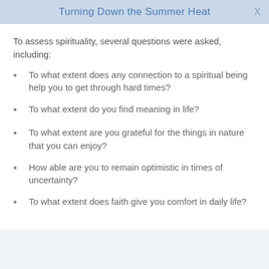Turning Down the Summer Heat
To assess spirituality, several questions were asked, including:
To what extent does any connection to a spiritual being help you to get through hard times?
To what extent do you find meaning in life?
To what extent are you grateful for the things in nature that you can enjoy?
How able are you to remain optimistic in times of uncertainty?
To what extent does faith give you comfort in daily life?